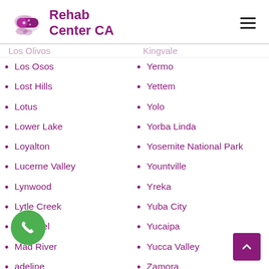Rehab Center CA
Los Osos
Lost Hills
Lotus
Lower Lake
Loyalton
Lucerne Valley
Lynwood
Lytle Creek
Macdoel
Mad River
Madeline
Magalia
Malibu
Yermo
Yettem
Yolo
Yorba Linda
Yosemite National Park
Yountville
Yreka
Yuba City
Yucaipa
Yucca Valley
Zamora
Zenia